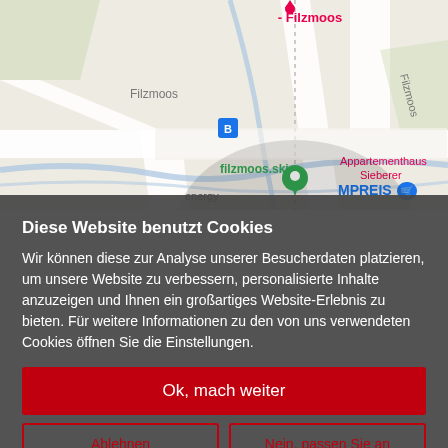[Figure (map): Google Maps screenshot showing Filzmoos area with street map, featuring labels: Filzmoos, MPREIS store icon, filzmoos.ski green location pin, Appartementhaus Sieberer label in pink, bus stop icon, and road network with blue water features. Pink location pin at top labeled '- Filzmoos'. energy label bottom left.]
Diese Website benutzt Cookies
Wir können diese zur Analyse unserer Besucherdaten platzieren, um unsere Website zu verbessern, personalisierte Inhalte anzuzeigen und Ihnen ein großartiges Website-Erlebnis zu bieten. Für weitere Informationen zu den von uns verwendeten Cookies öffnen Sie die Einstellungen.
Ok, mach weiter
Ablehnen
Nein, passen Sie an